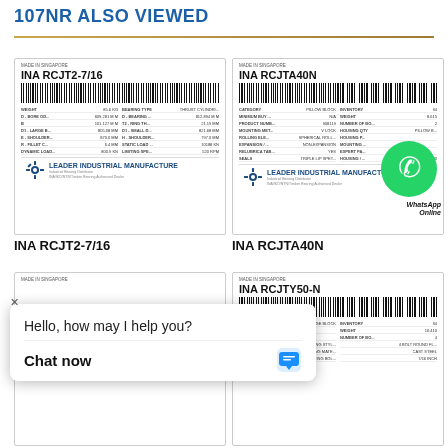107NR ALSO VIEWED
[Figure (screenshot): Product card for INA RCJT2-7/16 bearing with barcode, specifications, and manufacturer logo]
INA RCJT2-7/16
[Figure (screenshot): Product card for INA RCJTA40N bearing with barcode, specifications, manufacturer logo, and WhatsApp overlay]
INA RCJTA40N
[Figure (screenshot): Partially visible product card for unknown bearing with barcode and category info]
[Figure (screenshot): Product card for INA RCJTY50-N bearing with barcode and specifications]
Hello, how may I help you?
Chat now